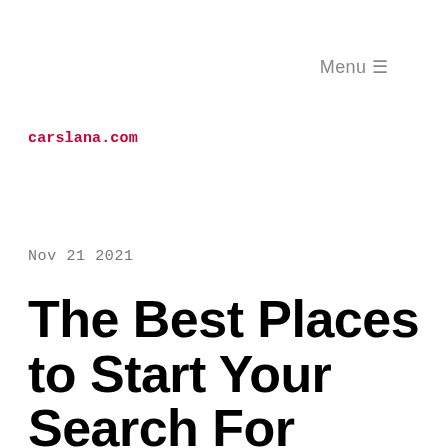Menu ☰
carslana.com
Nov 21 2021
The Best Places to Start Your Search For